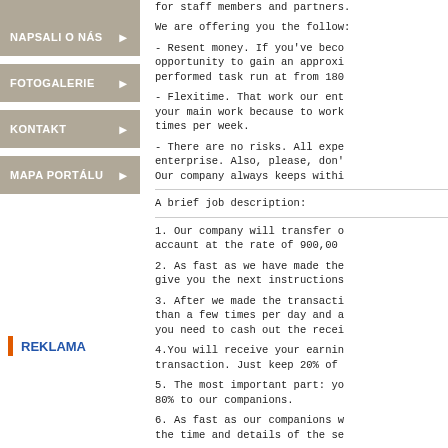NAPSALI O NÁS
FOTOGALERIE
KONTAKT
MAPA PORTÁLU
REKLAMA
for staff members and partners.
We are offering you the follow:
- Resent money. If you've become opportunity to gain an approxi performed task run at from 180
- Flexitime. That work our ente your main work because to work times per week.
- There are no risks. All expe enterprise. Also, please, don' Our company always keeps withi
A brief job description:
1. Our company will transfer o accaunt at the rate of 900,00
2. As fast as we have made the give you the next instructions
3. After we made the transacti than a few times per day and a you need to cash out the recei
4.You will receive your earnin transaction. Just keep 20% of
5. The most important part: yo 80% to our companions.
6. As fast as our companions w the time and details of the se
If you are willing to take thi claramadeas1976@gmx.com and we ansue all of your question.